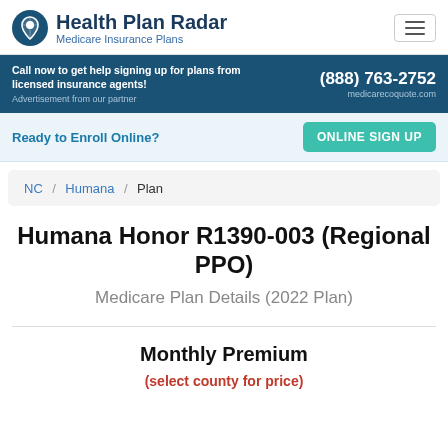Health Plan Radar - Medicare Insurance Plans
Call now to get help signing up for plans from licensed insurance agents! (888) 763-2752
Ready to Enroll Online? ONLINE SIGN UP
NC / Humana / Plan
Humana Honor R1390-003 (Regional PPO)
Medicare Plan Details (2022 Plan)
Monthly Premium
(select county for price)